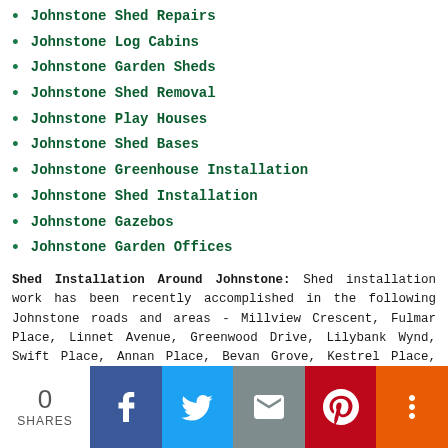Johnstone Shed Repairs
Johnstone Log Cabins
Johnstone Garden Sheds
Johnstone Shed Removal
Johnstone Play Houses
Johnstone Shed Bases
Johnstone Greenhouse Installation
Johnstone Shed Installation
Johnstone Gazebos
Johnstone Garden Offices
Shed Installation Around Johnstone: Shed installation work has been recently accomplished in the following Johnstone roads and areas - Millview Crescent, Fulmar Place, Linnet Avenue, Greenwood Drive, Lilybank Wynd, Swift Place, Annan Place, Bevan Grove, Kestrel Place, Larch Place, Alder Place, Buchanan Street, Corseford Avenue, Dimity Street, Russell Street, Willow Drive, Gibson Crescent, Park Place, Armour Street, Gordon McMaster Gardens, Plover Place, Woodlands Crescent, Nightingale Place, Provost Close, Ramsay Place, Dundonald Avenue, as well as these local Johnstone postcodes: PA5 0LJ, PA5 0SR, PA5 0RY, PA5 0NB, PA5 0DY, PA5 0RA, PA5 0BG, PA5 0HT, PA5 0SX, PA5 0RE.
By using this website you are agreeing